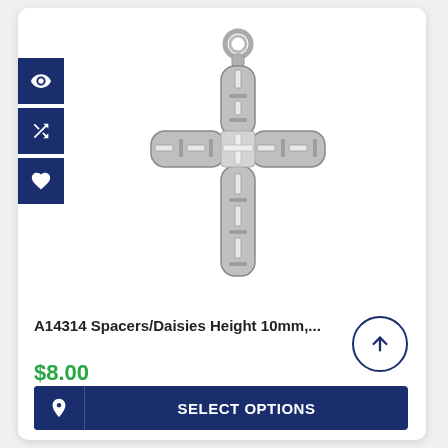[Figure (photo): Silver metal cross pendant charm with decorative engravings and a loop at the top for attaching to a necklace or bracelet. The cross has a tubular/rounded design with rectangular cutout accents along each arm.]
A14314 Spacers/Daisies Height 10mm,...
$8.00
SELECT OPTIONS